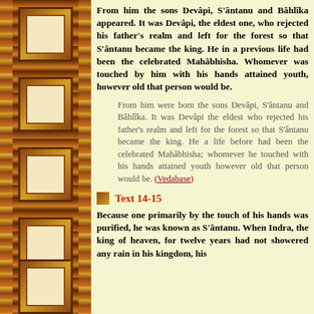From him the sons Devâpi, S'ântanu and Bâhlîka appeared. It was Devâpi, the eldest one, who rejected his father's realm and left for the forest so that S'ântanu became the king. He in a previous life had been the celebrated Mahâbhisha. Whomever was touched by him with his hands attained youth, however old that person would be.
From him were born the sons Devâpi, S'ântanu and Bâhlîka. It was Devâpi the eldest who rejected his father's realm and left for the forest so that S'ântanu became the king. He a life before had been the celebrated Mahâbhisha; whomever he touched with his hands attained youth however old that person would be. (Vedabase)
Text 14-15
Because one primarily by the touch of his hands was purified, he was known as S'ântanu. When Indra, the king of heaven, for twelve years had not showered any rain in his kingdom, his